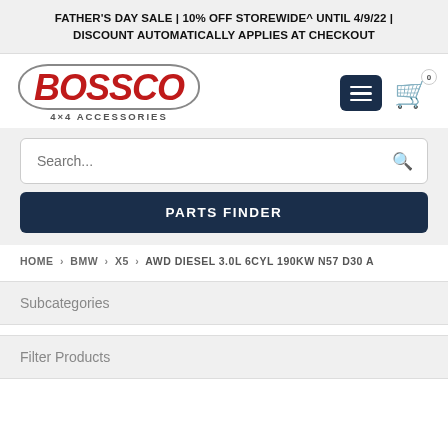FATHER'S DAY SALE | 10% OFF STOREWIDE^ UNTIL 4/9/22 | DISCOUNT AUTOMATICALLY APPLIES AT CHECKOUT
[Figure (logo): Bossco 4x4 Accessories logo with red italic BOSSCO text inside a rounded rectangle border, with '4x4 ACCESSORIES' subtitle]
Search...
PARTS FINDER
HOME › BMW › X5 › AWD DIESEL 3.0L 6CYL 190KW N57 D30 A
Subcategories
Filter Products